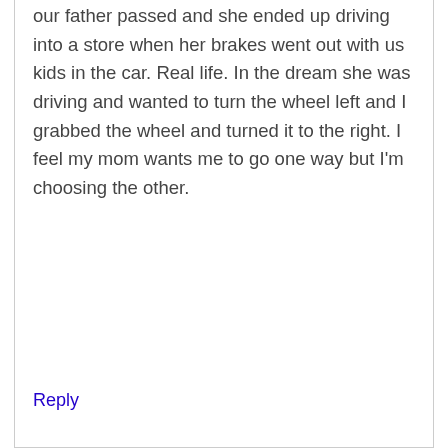our father passed and she ended up driving into a store when her brakes went out with us kids in the car. Real life. In the dream she was driving and wanted to turn the wheel left and I grabbed the wheel and turned it to the right. I feel my mom wants me to go one way but I'm choosing the other.
Reply